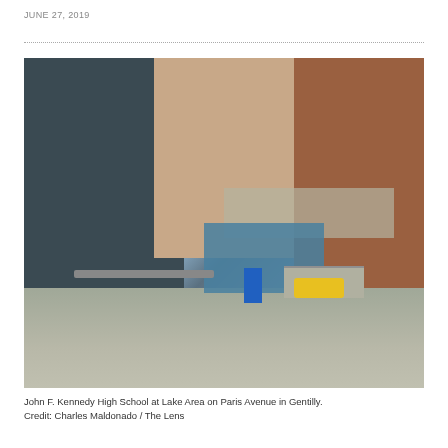JUNE 27, 2019
[Figure (photo): Exterior photo of John F. Kennedy High School at Lake Area on Paris Avenue in Gentilly. Shows the front entrance of a multi-building campus with brick and concrete architecture, a covered walkway/canopy, bare tree, blue recycling bin, yellow chairs near entry steps, and a clear blue sky.]
John F. Kennedy High School at Lake Area on Paris Avenue in Gentilly.
Credit: Charles Maldonado / The Lens